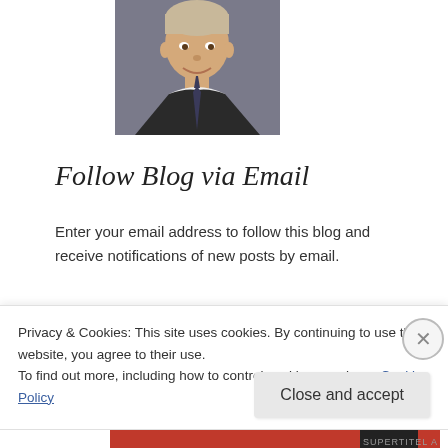[Figure (photo): Professional headshot of a middle-aged man in a dark suit and tie, smiling, against a grey background]
Follow Blog via Email
Enter your email address to follow this blog and receive notifications of new posts by email.
Privacy & Cookies: This site uses cookies. By continuing to use this website, you agree to their use.
To find out more, including how to control cookies, see here: Cookie Policy
Close and accept